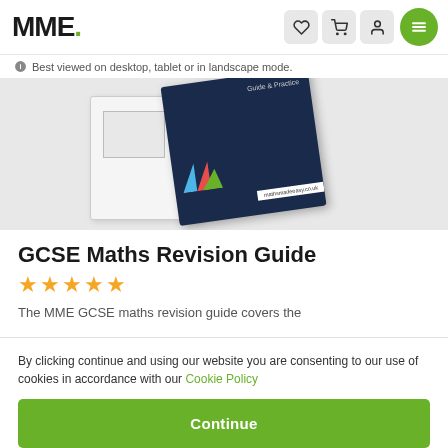MME.
Best viewed on desktop, tablet or in landscape mode.
[Figure (photo): Product image showing a white notebook and a dark navy GCSE Maths revision guide book with colorful logo and mathsmadeeasy.co.uk URL label]
GCSE Maths Revision Guide
★★★★★
The MME GCSE maths revision guide covers the
By clicking continue and using our website you are consenting to our use of cookies in accordance with our Cookie Policy
Continue